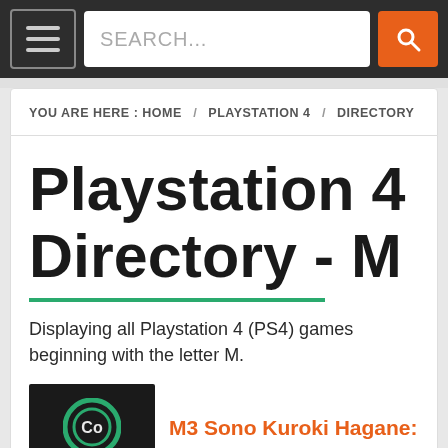SEARCH...
YOU ARE HERE : HOME / PLAYSTATION 4 / DIRECTORY
Playstation 4 Directory - M
Displaying all Playstation 4 (PS4) games beginning with the letter M.
M3 Sono Kuroki Hagane: Mission Memento Mori
Machinarium